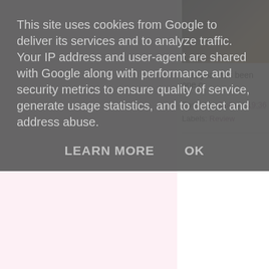This site uses cookies from Google to deliver its services and to analyze traffic. Your IP address and user-agent are shared with Google along with performance and security metrics to ensure quality of service, generate usage statistics, and to detect and address abuse.
LEARN MORE    OK
[Figure (photo): Partially visible photo of a person, cropped at the top right of the page]
This year has been one o...
Posted by Dolly at 19:36
Labels: Review